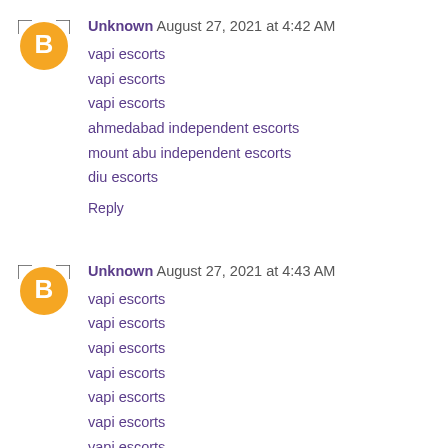[Figure (illustration): Orange circular Blogger avatar icon with white 'B' letter, for user Unknown]
Unknown August 27, 2021 at 4:42 AM
vapi escorts
vapi escorts
vapi escorts
ahmedabad independent escorts
mount abu independent escorts
diu escorts
Reply
[Figure (illustration): Orange circular Blogger avatar icon with white 'B' letter, for user Unknown]
Unknown August 27, 2021 at 4:43 AM
vapi escorts
vapi escorts
vapi escorts
vapi escorts
vapi escorts
vapi escorts
vapi escorts
vapi escorts